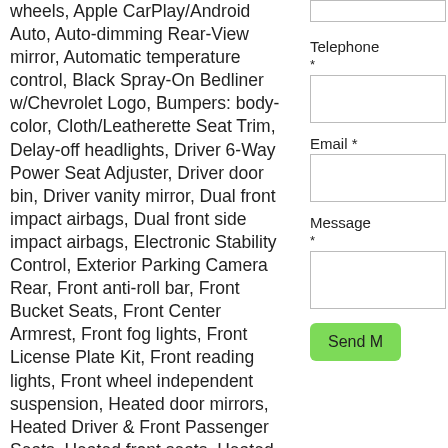wheels, Apple CarPlay/Android Auto, Auto-dimming Rear-View mirror, Automatic temperature control, Black Spray-On Bedliner w/Chevrolet Logo, Bumpers: body-color, Cloth/Leatherette Seat Trim, Delay-off headlights, Driver 6-Way Power Seat Adjuster, Driver door bin, Driver vanity mirror, Dual front impact airbags, Dual front side impact airbags, Electronic Stability Control, Exterior Parking Camera Rear, Front anti-roll bar, Front Bucket Seats, Front Center Armrest, Front fog lights, Front License Plate Kit, Front reading lights, Front wheel independent suspension, Heated door mirrors, Heated Driver & Front Passenger Seats, Heated front seats, Heated steering wheel, Illuminated entry, Integrated Trailer Brake Controller, Low tire pressure warning, Occupant sensing airbag, Overhead airbag, Overhead console, Passenger
Telephone *
Email *
Message *
Send M